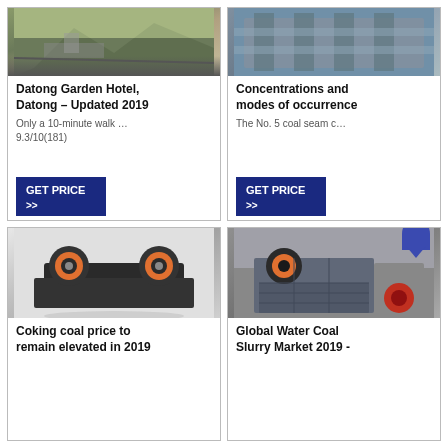[Figure (photo): Outdoor quarry or construction site with machinery and rock piles]
Datong Garden Hotel, Datong – Updated 2019
Only a 10-minute walk … 9.3/10(181)
[Figure (other): GET PRICE >> button]
[Figure (photo): Industrial machinery, appears to be processing equipment]
Concentrations and modes of occurrence
The No. 5 coal seam c…
[Figure (other): GET PRICE >> button]
[Figure (photo): Jaw crusher industrial machine render with orange and black coloring]
Coking coal price to remain elevated in 2019
[Figure (photo): Industrial jaw crusher machine in factory setting]
Global Water Coal Slurry Market 2019 -